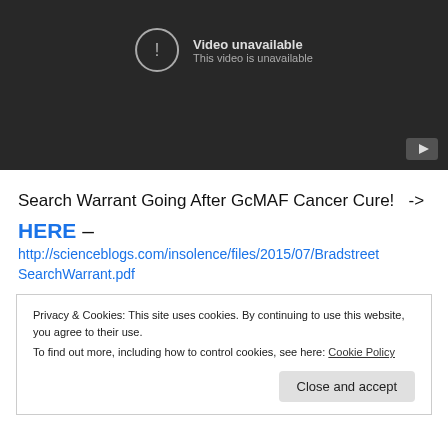[Figure (screenshot): YouTube-style video player showing 'Video unavailable / This video is unavailable' error message on a dark background with a play button icon in the bottom right corner.]
Search Warrant Going After GcMAF Cancer Cure!   ->
HERE – http://scienceblogs.com/insolence/files/2015/07/BradstreetSearchWarrant.pdf
Privacy & Cookies: This site uses cookies. By continuing to use this website, you agree to their use.
To find out more, including how to control cookies, see here: Cookie Policy
Close and accept